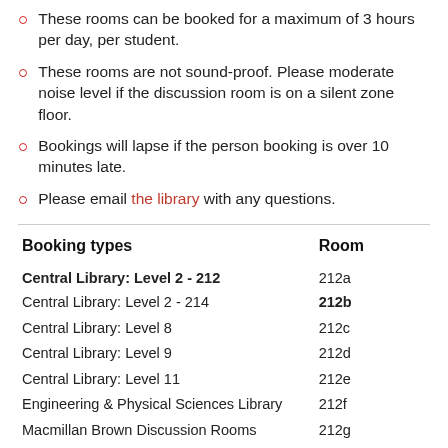These rooms can be booked for a maximum of 3 hours per day, per student.
These rooms are not sound-proof. Please moderate noise level if the discussion room is on a silent zone floor.
Bookings will lapse if the person booking is over 10 minutes late.
Please email the library with any questions.
| Booking types | Room |
| --- | --- |
| Central Library: Level 2 - 212 | 212a |
| Central Library: Level 2 - 214 | 212b |
| Central Library: Level 8 | 212c |
| Central Library: Level 9 | 212d |
| Central Library: Level 11 | 212e |
| Engineering & Physical Sciences Library | 212f |
| Macmillan Brown Discussion Rooms | 212g |